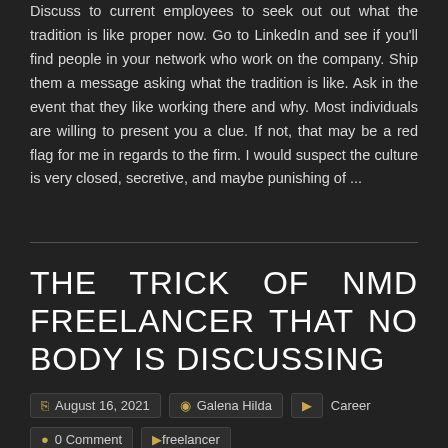Discuss to current employees to seek out out what the tradition is like proper now. Go to LinkedIn and see if you'll find people in your network who work on the company. Ship them a message asking what the tradition is like. Ask in the event that they like working there and why. Most individuals are willing to present you a clue. If not, that may be a red flag for me in regards to the firm. I would suspect the culture is very closed, secretive, and maybe punishing of ...
THE TRICK OF NMD FREELANCER THAT NO BODY IS DISCUSSING
August 16, 2021  Galena Hilda  Career  0 Comment  freelancer